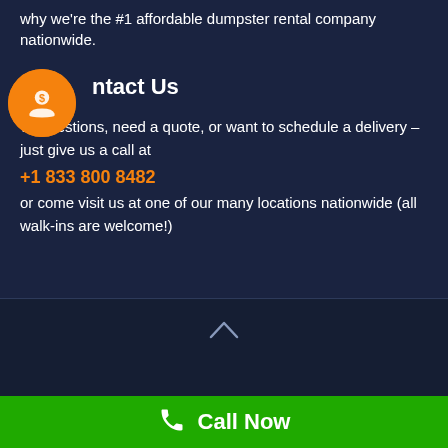why we're the #1 affordable dumpster rental company nationwide.
Contact Us
Have questions, need a quote, or want to schedule a delivery – just give us a call at
+1 833 800 8482
or come visit us at one of our many locations nationwide (all walk-ins are welcome!)
Designed & Developed by Solvers Cave | All Rights Reserved Terms of service | Privacy policy | Disclaimer
Call Now